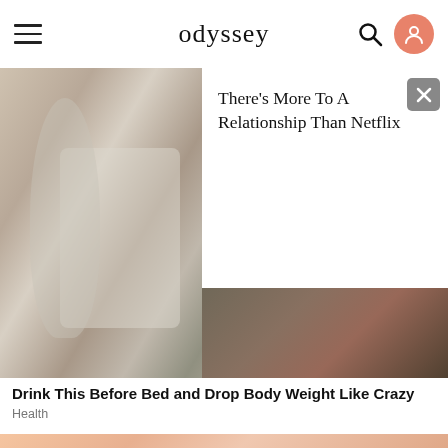odyssey
[Figure (photo): Photo of baking powder or flour being scooped into a glass jar, with measuring cup visible, blurry kitchen background]
There's More To A Relationship Than Netflix
Drink This Before Bed and Drop Body Weight Like Crazy
Health
[Figure (photo): Close-up photo of a person's face with eyes closed, hands near face and a circular metal ring/tool visible near the eye area, peach/skin tone background]